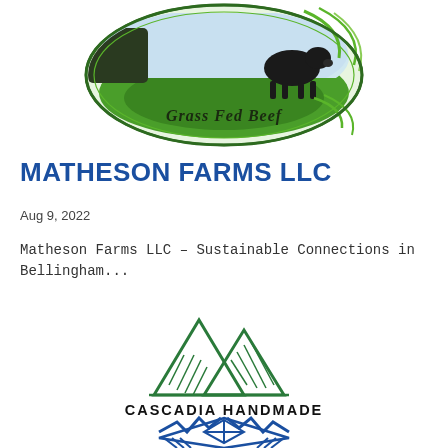[Figure (logo): Matheson Farms LLC circular logo with grass fed beef cow on green field, with 'Grass Fed Beef' text, surrounded by circular design with green swirl lines]
MATHESON FARMS LLC
Aug 9, 2022
Matheson Farms LLC – Sustainable Connections in Bellingham...
[Figure (logo): Cascadia Handmade logo with green mountain/diamond geometric shapes on top and blue geometric pattern on bottom, with 'CASCADIA HANDMADE' text in the middle]